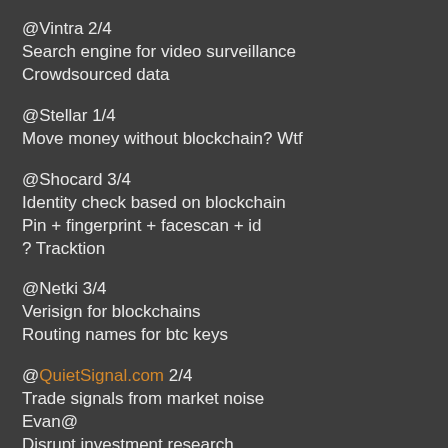@Vintra 2/4
Search engine for video surveillance
Crowdsourced data
@Stellar 1/4
Move money without blockchain? Wtf
@Shocard 3/4
Identity check based on blockchain
Pin + fingerprint + facescan + id
? Tracktion
@Netki 3/4
Verisign for blockchains
Routing names for btc keys
@QuietSignal.com 2/4
Trade signals from market noise
Evan@
Disrupt investment research
Todos